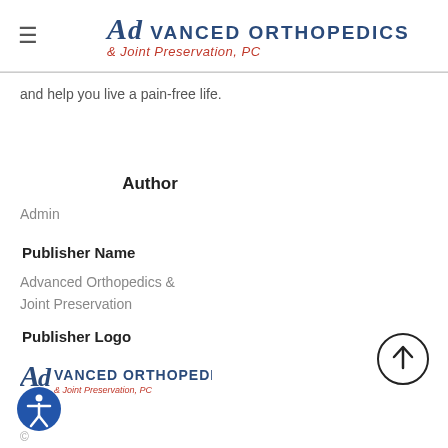Advanced Orthopedics & Joint Preservation, PC
and help you live a pain-free life.
Author
Admin
Publisher Name
Advanced Orthopedics & Joint Preservation
Publisher Logo
[Figure (logo): Advanced Orthopedics & Joint Preservation, PC logo — stylized A/D monogram in navy, with red subtitle text]
[Figure (other): Circular button with upward arrow (back to top)]
[Figure (other): Accessibility icon — blue circle with person figure]
© ...